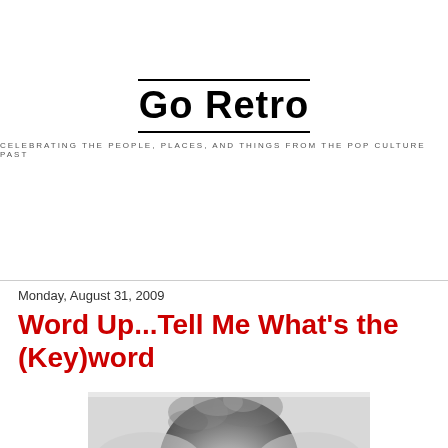Go Retro — CELEBRATING THE PEOPLE, PLACES, AND THINGS FROM THE POP CULTURE PAST
Monday, August 31, 2009
Word Up...Tell Me What's the (Key)word
[Figure (photo): Black and white photograph of a person with curly hair, upper portion of head visible]